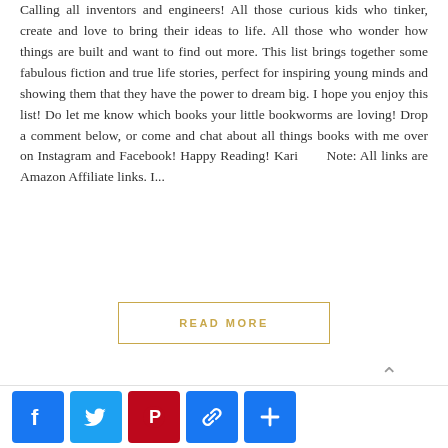Calling all inventors and engineers! All those curious kids who tinker, create and love to bring their ideas to life. All those who wonder how things are built and want to find out more. This list brings together some fabulous fiction and true life stories, perfect for inspiring young minds and showing them that they have the power to dream big. I hope you enjoy this list! Do let me know which books your little bookworms are loving! Drop a comment below, or come and chat about all things books with me over on Instagram and Facebook! Happy Reading! Kari      Note: All links are Amazon Affiliate links. I...
READ MORE
0 Comments
[Figure (other): Social share buttons: Facebook, Twitter, Pinterest, Link, Add/Plus]